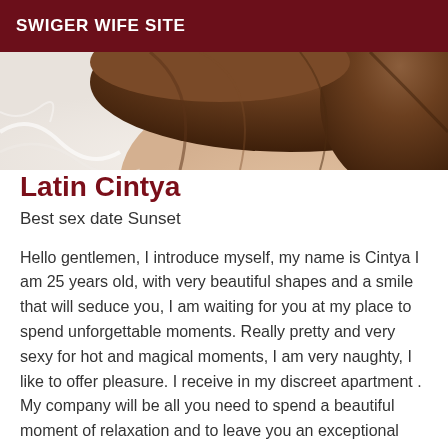SWIGER WIFE SITE
[Figure (photo): Partial photo of a woman with brown hair on a white/light fur background, cropped showing top of head]
Latin Cintya
Best sex date Sunset
Hello gentlemen, I introduce myself, my name is Cintya I am 25 years old, with very beautiful shapes and a smile that will seduce you, I am waiting for you at my place to spend unforgettable moments. Really pretty and very sexy for hot and magical moments, I am very naughty, I like to offer pleasure. I receive in my discreet apartment . My company will be all you need to spend a beautiful moment of relaxation and to leave you an exceptional memory. I live in a clean and welcoming apartment, I like to take the time it takes to satisfy you and I hope to fulfill all your requests. My photos are 100% real, they are not retouched, no Photoshop. I am known as a very